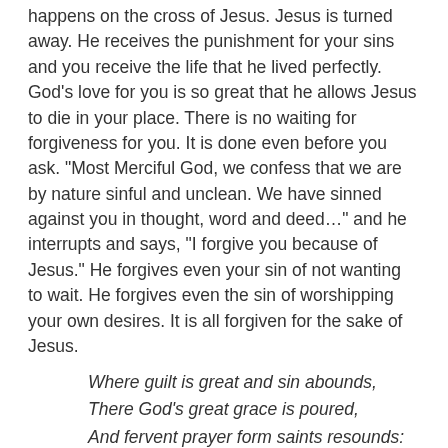happens on the cross of Jesus. Jesus is turned away. He receives the punishment for your sins and you receive the life that he lived perfectly. God's love for you is so great that he allows Jesus to die in your place. There is no waiting for forgiveness for you. It is done even before you ask. “Most Merciful God, we confess that we are by nature sinful and unclean. We have sinned against you in thought, word and deed…” and he interrupts and says, “I forgive you because of Jesus.” He forgives even your sin of not wanting to wait. He forgives even the sin of worshipping your own desires. It is all forgiven for the sake of Jesus.
Where guilt is great and sin abounds,
There God’s great grace is poured,
And fervent prayer form saints resounds:
“I wait for you, O Lord”
“I wait for you, O Lord.” It seems impossible. We hate to wait. But we do wait on the Lord. We do it because we know he has our best interest at heart. It’s not like waiting for a hamburger at the drive through. We don’t have a relationship with the clerk. We have a relationship with God. Our relationship is based on that love he has for us. The...